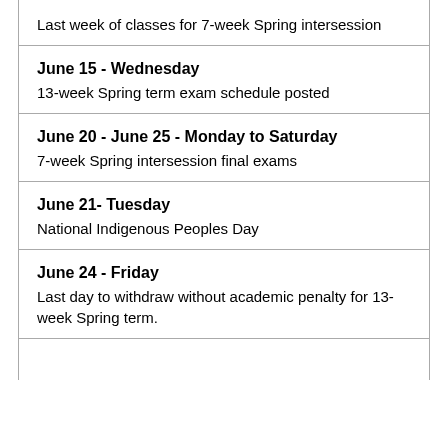Last week of classes for 7-week Spring intersession
June 15 - Wednesday
13-week Spring term exam schedule posted
June 20 - June 25 - Monday to Saturday
7-week Spring intersession final exams
June 21- Tuesday
National Indigenous Peoples Day
June 24 - Friday
Last day to withdraw without academic penalty for 13-week Spring term.